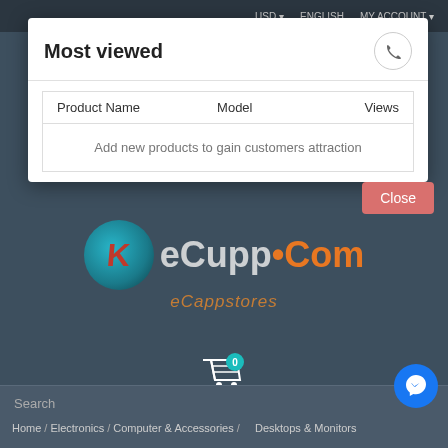Most viewed
| Product Name | Model | Views |
| --- | --- | --- |
| Add new products to gain customers attraction |  |  |
Close
[Figure (logo): eCupp.Com / eCappstores logo with teal circle and red K letter]
[Figure (other): Shopping cart icon with badge showing 0]
Search
Home / Electronics / Computer & Accessories / Desktops & Monitors
[Figure (other): Messenger chat bubble icon button]